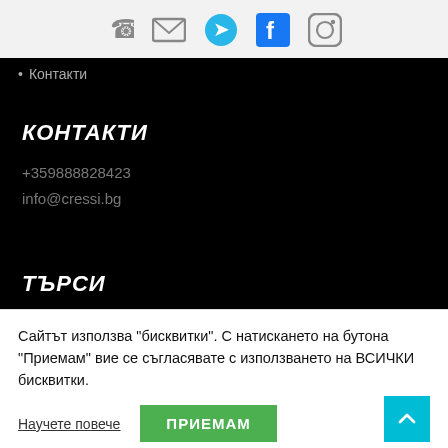[Figure (infographic): Social media icons bar: phone, email, Telegram, Facebook, Instagram]
• Контакти
КОНТАКТИ
+359888828423
info@cressi.bg
ТЪРСИ
Сайтът използва "бисквитки". С натискането на бутона "Приемам" вие се съгласявате с използването на ВСИЧКИ бисквитки.
Научете повече   ПРИЕМАМ